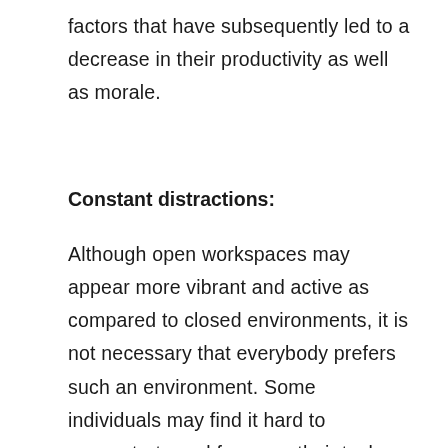factors that have subsequently led to a decrease in their productivity as well as morale.
Constant distractions:
Although open workspaces may appear more vibrant and active as compared to closed environments, it is not necessary that everybody prefers such an environment. Some individuals may find it hard to concentrate and focus on their tasks with all